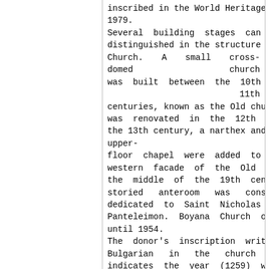inscribed in the World Heritage List in 1979. Several building stages can be distinguished in the structure of Boyana Church. A small cross-domed church was built between the 10th – 11th centuries, known as the Old church. It was renovated in the 12th century. In the 13th century, a narthex and a small upper-floor chapel were added to the western facade of the Old Church. In the middle of the 19th century a two-storied anteroom was constructed, dedicated to Saint Nicholas and Saint Panteleimon. Boyana Church operated until 1954. The donor's inscription written in Old Bulgarian in the church narthex indicates the year (1259) when the church decoration was completed, the names of the donors and the family relation of the localf donor to the Bulgarian Tsar and the Serbian King. The 13th century frescoes in the nave follow the general principles of the Christian canon for church mural